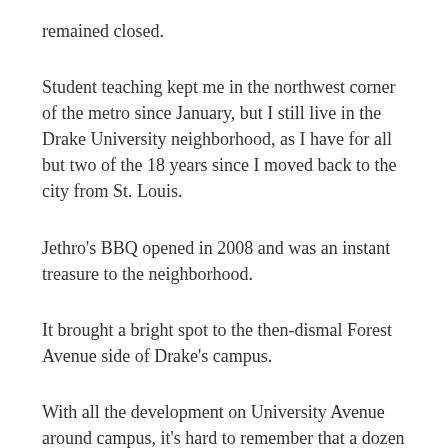remained closed.
Student teaching kept me in the northwest corner of the metro since January, but I still live in the Drake University neighborhood, as I have for all but two of the 18 years since I moved back to the city from St. Louis.
Jethro's BBQ opened in 2008 and was an instant treasure to the neighborhood.
It brought a bright spot to the then-dismal Forest Avenue side of Drake's campus.
With all the development on University Avenue around campus, it's hard to remember that a dozen years ago, Mars Café, China Place, and